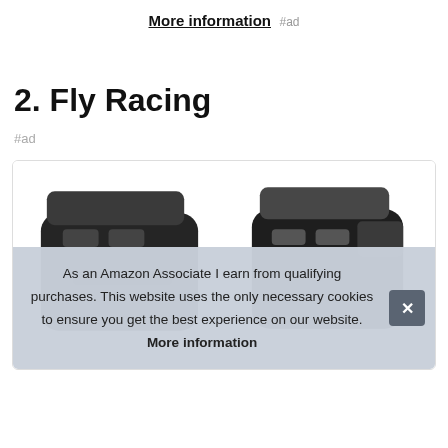More information #ad
2. Fly Racing
#ad
[Figure (photo): Product photo of Fly Racing motorcycle gloves, black, shown as a pair from above inside a bordered box.]
As an Amazon Associate I earn from qualifying purchases. This website uses the only necessary cookies to ensure you get the best experience on our website. More information